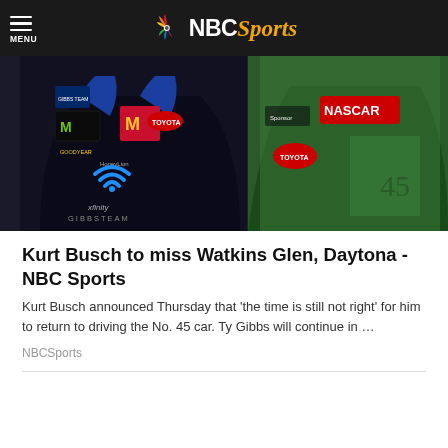MENU | NBC Sports
[Figure (photo): Two NASCAR drivers in racing jackets. Left driver wears a black jacket with Monster Energy, McDonald's, HoneyLion, Goodyear, and Xfinity logos, plus a Toyota patch. Right driver wears a green jacket with NASCAR and Toyota logos.]
Kurt Busch to miss Watkins Glen, Daytona - NBC Sports
Kurt Busch announced Thursday that 'the time is still not right' for him to return to driving the No. 45 car. Ty Gibbs will continue in …
NBCSports